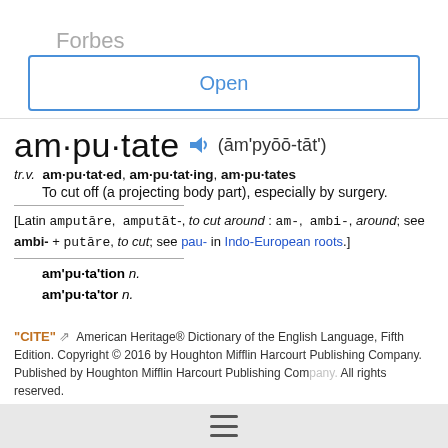Forbes
Open
am·pu·tate (ām'pyōō-tāt')
tr.v. am·pu·tat·ed, am·pu·tat·ing, am·pu·tates
To cut off (a projecting body part), especially by surgery.
[Latin amputāre, amputāt-, to cut around : am-, ambi-, around; see ambi- + putāre, to cut; see pau- in Indo-European roots.]
am'pu·ta'tion n.
am'pu·ta'tor n.
"CITE" ⇗ American Heritage® Dictionary of the English Language, Fifth Edition. Copyright © 2016 by Houghton Mifflin Harcourt Publishing Company. Published by Houghton Mifflin Harcourt Publishing Company. All rights reserved.